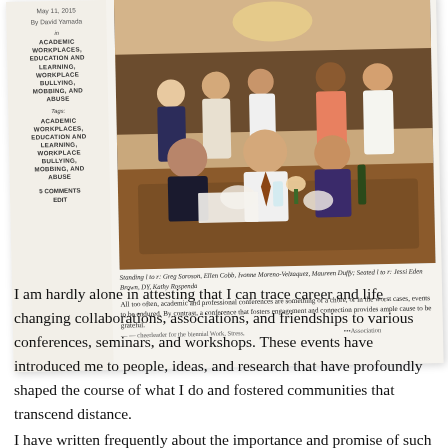[Figure (photo): Blog post screenshot showing a group photo at a restaurant dinner table. Left sidebar lists metadata: date May 11, 2015, author David Yamada, categories Academic Workplaces, Education and Learning, Workplace Bullying, Mobbing and Abuse, Tags, and 5 Comments / Edit links.]
Standing l to r: Greg Soroson, Ellen Cobb, Ivonne Moreno-Velzaquez, Maureen Duffy; Seated l to r: Jessi Eden Brown, DY, Kathy Rospenda
All too often, academic and professional conferences are something of a chore, or in the worst cases, events to be endured. By contrast, a conference that fosters engagement and connection provides ample cause to be grateful.
I am hardly alone in attesting that I can trace career and life changing collaborations, associations, and friendships to various conferences, seminars, and workshops. These events have introduced me to people, ideas, and research that have profoundly shaped the course of what I do and fostered communities that transcend distance.
I have written frequently about the importance and promise of such